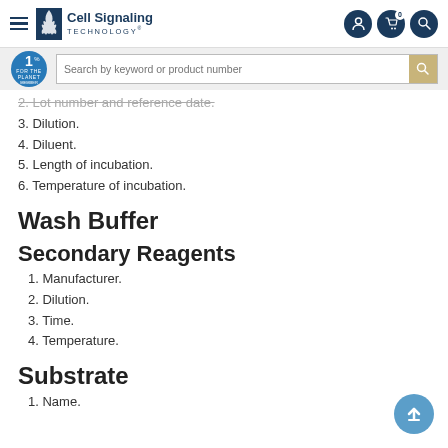Cell Signaling Technology navigation bar
2. Lot number and reference date.
3. Dilution.
4. Diluent.
5. Length of incubation.
6. Temperature of incubation.
Wash Buffer
Secondary Reagents
1. Manufacturer.
2. Dilution.
3. Time.
4. Temperature.
Substrate
1. Name.